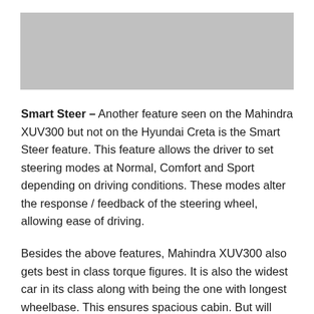[Figure (photo): Gray placeholder image at the top of the page]
Smart Steer – Another feature seen on the Mahindra XUV300 but not on the Hyundai Creta is the Smart Steer feature. This feature allows the driver to set steering modes at Normal, Comfort and Sport depending on driving conditions. These modes alter the response / feedback of the steering wheel, allowing ease of driving.
Besides the above features, Mahindra XUV300 also gets best in class torque figures. It is also the widest car in its class along with being the one with longest wheelbase. This ensures spacious cabin. But will these segment first features be enough to lure a Hyundai Creta customer? Only time will tell.